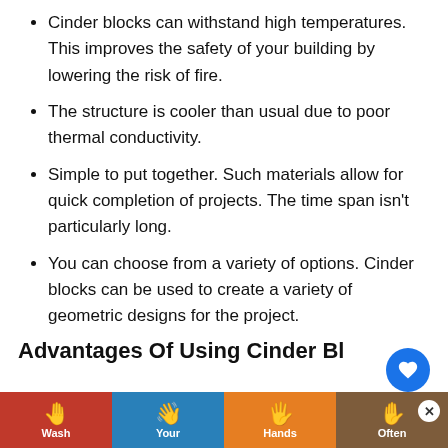Cinder blocks can withstand high temperatures. This improves the safety of your building by lowering the risk of fire.
The structure is cooler than usual due to poor thermal conductivity.
Simple to put together. Such materials allow for quick completion of projects. The time span isn't particularly long.
You can choose from a variety of options. Cinder blocks can be used to create a variety of geometric designs for the project.
Advantages Of Using Cinder Bl...
It's expensive to maintain a cinder block...